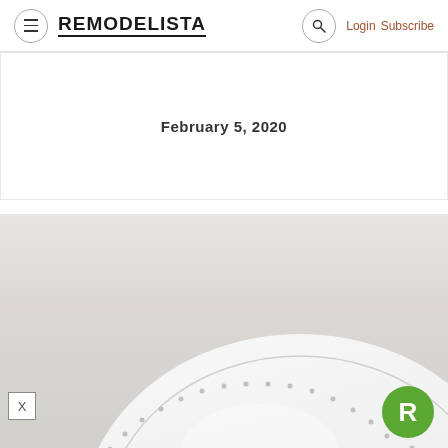REMODELISTA — Login   Subscribe
February 5, 2020
[Figure (photo): White ceramic plate with beaded rim edge, photographed on a white background with soft lighting. Partial view showing the dotted/beaded border detail of the dinnerware.]
[Figure (logo): Remodelista green circle logo with white letter R]